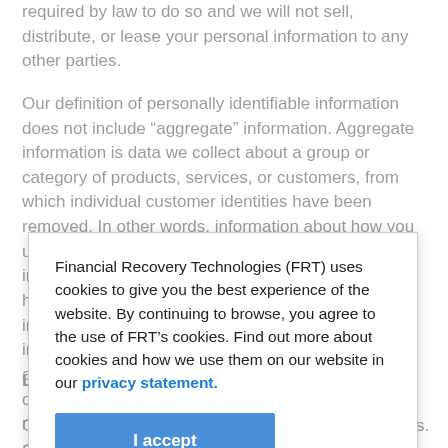required by law to do so and we will not sell, distribute, or lease your personal information to any other parties.
Our definition of personally identifiable information does not include “aggregate” information. Aggregate information is data we collect about a group or category of products, services, or customers, from which individual customer identities have been removed. In other words, information about how you use a service may be collected and combined with information about ho... in... in... ar... ot... ne... ar...
[Figure (screenshot): Cookie consent modal overlay: 'Financial Recovery Technologies (FRT) uses cookies to give you the best experience of the website. By continuing to browse, you agree to the use of FRT’s cookies. Find out more about cookies and how we use them on our website in our privacy statement.' with an 'I accept' button.]
Li
Our website contains links to and from other websites. Clicking